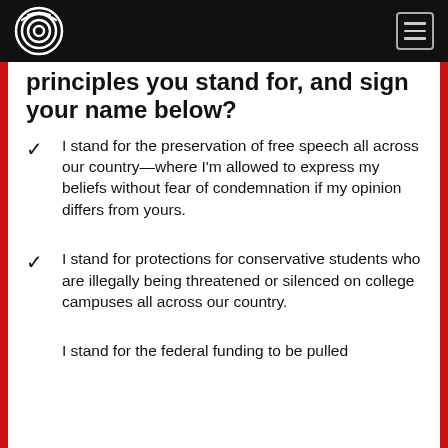[Logo] [Menu button]
principles you stand for, and sign your name below?
I stand for the preservation of free speech all across our country—where I'm allowed to express my beliefs without fear of condemnation if my opinion differs from yours.
I stand for protections for conservative students who are illegally being threatened or silenced on college campuses all across our country.
I stand for the federal funding to be pulled